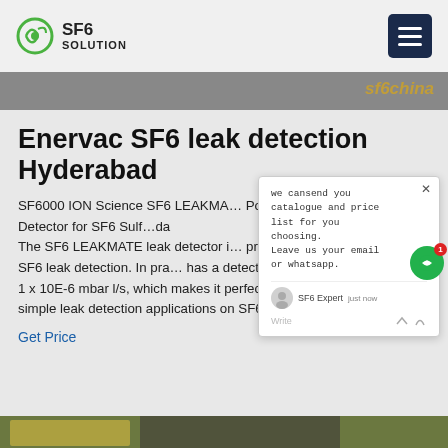SF6 SOLUTION
Enervac SF6 leak detection Hyderabad
SF6000 ION Science SF6 LEAKMATE Portable Leak Detector for SF6 Sulf... The SF6 LEAKMATE leak detector is the best price for mobile SF6 leak detection. In pra... has a detection threshold of 1 x 10E-6 mbar l/s, which makes it perfectly suitable for simple leak detection applications on SF6 switchgear.
Get Price
[Figure (screenshot): Chat popup showing message: we can send you catalogue and price list for you choosing. Leave us your email or whatsapp. SF6 Expert just now.]